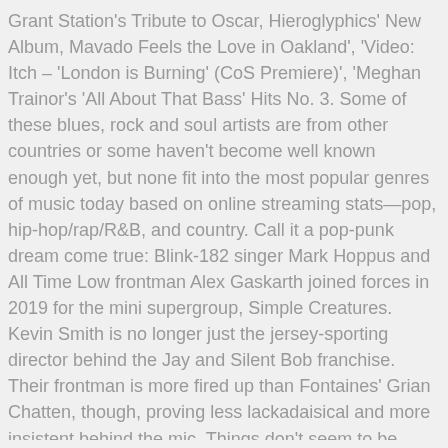Grant Station's Tribute to Oscar, Hieroglyphics' New Album, Mavado Feels the Love in Oakland', 'Video: Itch – 'London is Burning' (CoS Premiere)', 'Meghan Trainor's 'All About That Bass' Hits No. 3. Some of these blues, rock and soul artists are from other countries or some haven't become well known enough yet, but none fit into the most popular genres of music today based on online streaming stats—pop, hip-hop/rap/R&B, and country. Call it a pop-punk dream come true: Blink-182 singer Mark Hoppus and All Time Low frontman Alex Gaskarth joined forces in 2019 for the mini supergroup, Simple Creatures. Kevin Smith is no longer just the jersey-sporting director behind the Jay and Silent Bob franchise. Their frontman is more fired up than Fontaines' Grian Chatten, though, proving less lackadaisical and more insistent behind the mic. Things don't seem to be letting up anytime soon. Amy Shark. It's a catchy skate-punk record with an overtone of sugary pop-punk that makes for a seriously fun listen. Darkest Hour Ask Carol • Darkest Hour. Here are the 19 artists we feel like you should be